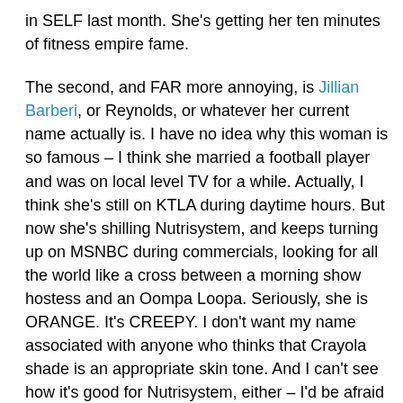in SELF last month. She's getting her ten minutes of fitness empire fame.
The second, and FAR more annoying, is Jillian Barberi, or Reynolds, or whatever her current name actually is. I have no idea why this woman is so famous – I think she married a football player and was on local level TV for a while. Actually, I think she's still on KTLA during daytime hours. But now she's shilling Nutrisystem, and keeps turning up on MSNBC during commercials, looking for all the world like a cross between a morning show hostess and an Oompa Loopa. Seriously, she is ORANGE. It's CREEPY. I don't want my name associated with anyone who thinks that Crayola shade is an appropriate skin tone. And I can't see how it's good for Nutrisystem, either – I'd be afraid of the product giving me jaundice.